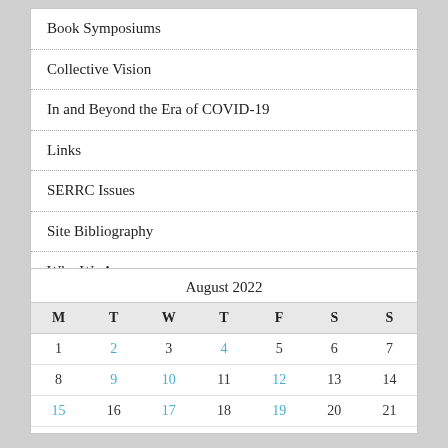Book Symposiums
Collective Vision
In and Beyond the Era of COVID-19
Links
SERRC Issues
Site Bibliography
Who We Are
| M | T | W | T | F | S | S |
| --- | --- | --- | --- | --- | --- | --- |
| 1 | 2 | 3 | 4 | 5 | 6 | 7 |
| 8 | 9 | 10 | 11 | 12 | 13 | 14 |
| 15 | 16 | 17 | 18 | 19 | 20 | 21 |